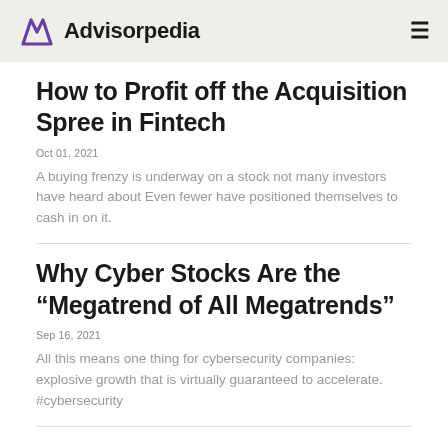Advisorpedia
How to Profit off the Acquisition Spree in Fintech
Oct 01, 2021
A buying frenzy is underway on a stock not many investors have heard about Even fewer have positioned themselves to cash in on it.
Why Cyber Stocks Are the “Megatrend of All Megatrends”
Sep 16, 2021
All this means one thing for cybersecurity companies: explosive growth that is virtually guaranteed to accelerate. #cybersecurity